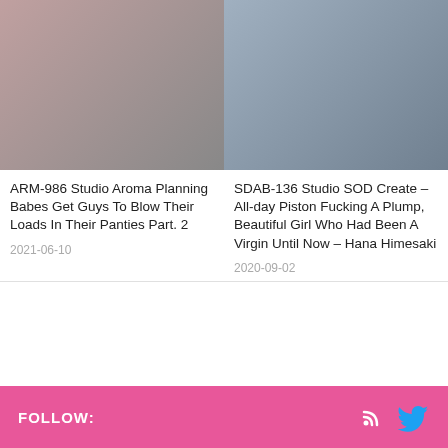[Figure (photo): DVD cover image for ARM-986 Studio Aroma Planning adult video]
[Figure (photo): DVD cover image for SDAB-136 Studio SOD Create adult video]
ARM-986 Studio Aroma Planning Babes Get Guys To Blow Their Loads In Their Panties Part. 2
2021-06-10
SDAB-136 Studio SOD Create – All-day Piston Fucking A Plump, Beautiful Girl Who Had Been A Virgin Until Now – Hana Himesaki
2020-09-02
FOLLOW: